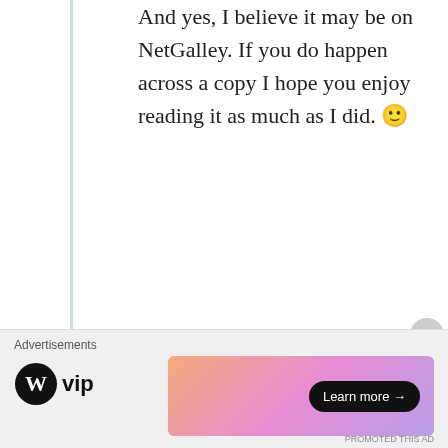And yes, I believe it may be on NetGalley. If you do happen across a copy I hope you enjoy reading it as much as I did. 🙂
Like
Read Voraciously
April 5, 2017 at 7:51 pm
[Figure (photo): Circular avatar photo of a woman with dark hair]
Advertisements
[Figure (logo): WordPress VIP logo with circle W icon]
[Figure (illustration): Gradient advertisement banner with Learn more arrow button]